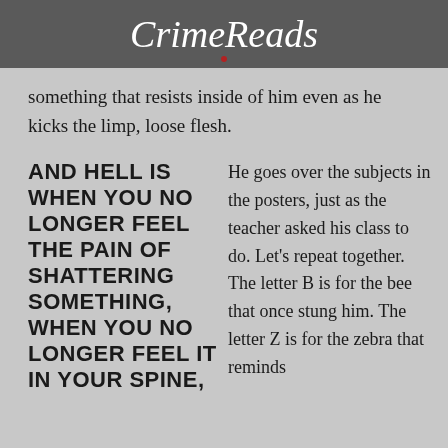CrimeReads
something that resists inside of him even as he kicks the limp, loose flesh.
AND HELL IS WHEN YOU NO LONGER FEEL THE PAIN OF SHATTERING SOMETHING, WHEN YOU NO LONGER FEEL IT IN YOUR SPINE,
He goes over the subjects in the posters, just as the teacher asked his class to do. Let's repeat together. The letter B is for the bee that once stung him. The letter Z is for the zebra that reminds